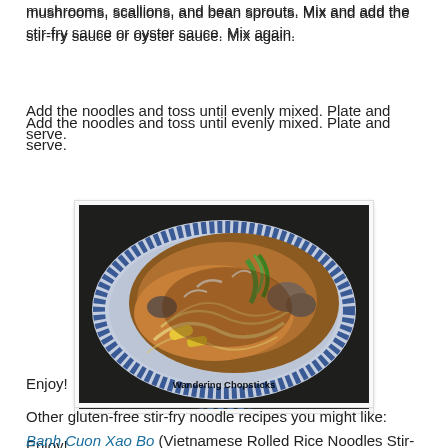mushrooms, scallions, and bean sprouts. Mix and add the stir-fry sauce or oyster sauce. Mix again.
Add the noodles and toss until evenly mixed. Plate and serve.
[Figure (photo): A blue and white decorative plate holding stir-fried noodles with mushrooms, baby corn, bean sprouts, scallions, and vegetables in a brown sauce. Watermark reads 'Wandering Chopsticks'.]
Enjoy!
Other gluten-free stir-fry noodle recipes you might like:
Banh Cuon Xao Bo (Vietnamese Rolled Rice Noodles Stir-Fry with Beef)